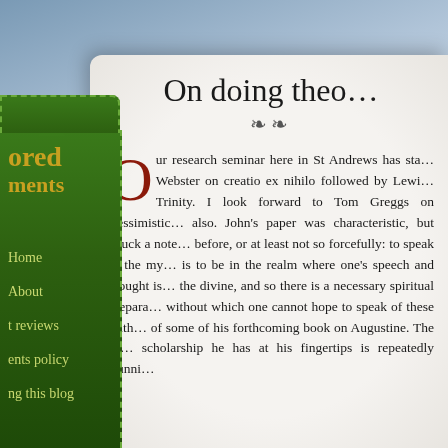On doing theo…
Our research seminar here in St Andrews has sta… Webster on creatio ex nihilo followed by Lewi… Trinity. I look forward to Tom Greggs on 'pessimistic… also. John's paper was characteristic, but struck a note… before, or at least not so forcefully: to speak of the my… is to be in the realm where one's speech and thought is… the divine, and so there is a necessary spiritual prepara… without which one cannot hope to speak of these truth… of some of his forthcoming book on Augustine. The sh… scholarship he has at his fingertips is repeatedly stunni…
Home
About
t reviews
ents policy
ng this blog